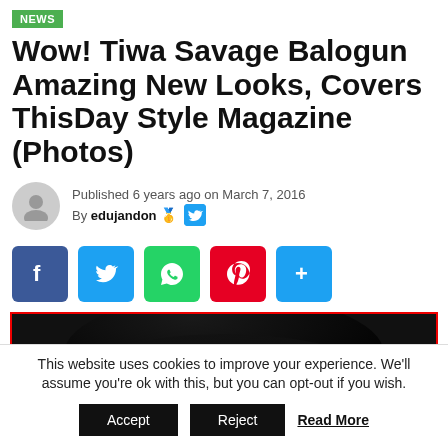NEWS
Wow! Tiwa Savage Balogun Amazing New Looks, Covers ThisDay Style Magazine (Photos)
Published 6 years ago on March 7, 2016
By edujandon 🥇
[Figure (infographic): Social share buttons: Facebook (blue), Twitter (light blue), WhatsApp (green), Pinterest (red), Share/More (light blue)]
[Figure (photo): Close-up photo of a woman (Tiwa Savage Balogun) with dark hair, against a dark background, with one hand raised near her face with long nails.]
This website uses cookies to improve your experience. We'll assume you're ok with this, but you can opt-out if you wish.
Accept  Reject  Read More